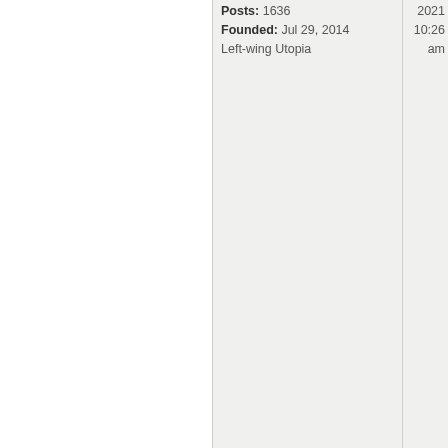Posts: 1636
Founded: Jul 29, 2014
Left-wing Utopia
2021
10:26
am